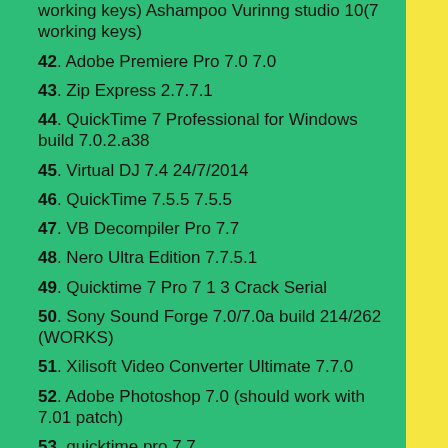working keys) Ashampoo Vurinng studio 10(7 working keys)
42. Adobe Premiere Pro 7.0 7.0
43. Zip Express 2.7.7.1
44. QuickTime 7 Professional for Windows build 7.0.2.a38
45. Virtual DJ 7.4 24/7/2014
46. QuickTime 7.5.5 7.5.5
47. VB Decompiler Pro 7.7
48. Nero Ultra Edition 7.7.5.1
49. Quicktime 7 Pro 7 1 3 Crack Serial
50. Sony Sound Forge 7.0/7.0a build 214/262 (WORKS)
51. Xilisoft Video Converter Ultimate 7.7.0
52. Adobe Photoshop 7.0 (should work with 7.01 patch)
53. quicktime pro 7 7
54. YouTube Music Downloader 3.7.7.0
55. Adobe Photoshop 7.0 7.0